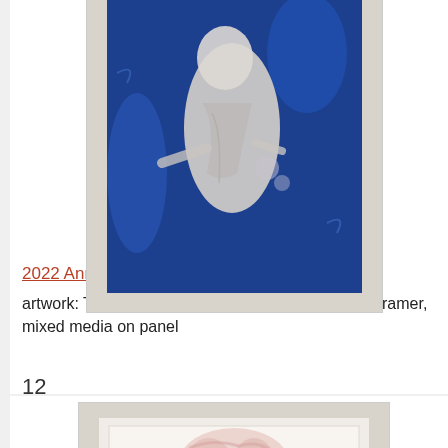[Figure (photo): Framed painting on blue background showing a white-robed figure bending forward, mixed media on panel, displayed on white background]
2022 Annual Student Art Exhibition
artwork: The Things You've Never Seen, Preston Kramer, mixed media on panel
12
[Figure (photo): Framed artwork showing abstract figures in pink and dark tones, displayed in a light wooden frame on white background]